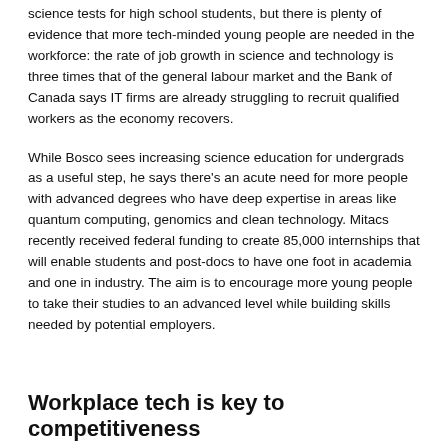science tests for high school students, but there is plenty of evidence that more tech-minded young people are needed in the workforce: the rate of job growth in science and technology is three times that of the general labour market and the Bank of Canada says IT firms are already struggling to recruit qualified workers as the economy recovers.
While Bosco sees increasing science education for undergrads as a useful step, he says there's an acute need for more people with advanced degrees who have deep expertise in areas like quantum computing, genomics and clean technology. Mitacs recently received federal funding to create 85,000 internships that will enable students and post-docs to have one foot in academia and one in industry. The aim is to encourage more young people to take their studies to an advanced level while building skills needed by potential employers.
Workplace tech is key to competitiveness
Canadians also view technologies like artificial intelligence as vital tools to make companies competitive globally. Although around half of respondents were nervous about the potential for job losses, there was broad support for using public funds to help improve workplace